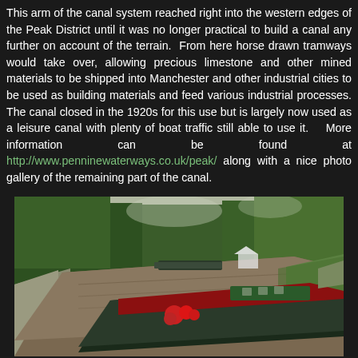This arm of the canal system reached right into the western edges of the Peak District until it was no longer practical to build a canal any further on account of the terrain.  From here horse drawn tramways would take over, allowing precious limestone and other mined materials to be shipped into Manchester and other industrial cities to be used as building materials and feed various industrial processes. The canal closed in the 1920s for this use but is largely now used as a leisure canal with plenty of boat traffic still able to use it.  More information can be found at http://www.penninewaterways.co.uk/peak/ along with a nice photo gallery of the remaining part of the canal.
[Figure (photo): A photograph of a canal scene showing a narrow boat with red decorations in the foreground on calm brown water, with tree-lined banks on both sides and more boats moored in the background. A small white gazebo structure is visible on the right bank.]